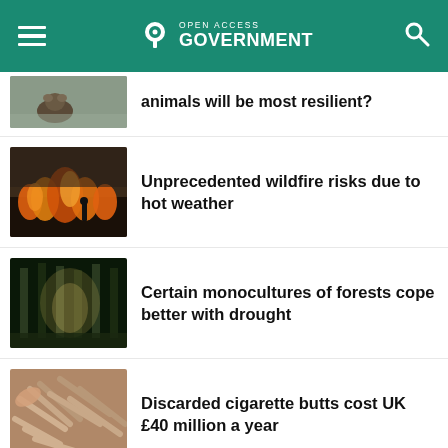Open Access Government
[Figure (photo): Partial article thumbnail showing a bear in a field]
animals will be most resilient?
[Figure (photo): Wildfire with flames and a person silhouette]
Unprecedented wildfire risks due to hot weather
[Figure (photo): Forest trees with sunlight filtering through]
Certain monocultures of forests cope better with drought
[Figure (photo): Pile of discarded cigarette butts]
Discarded cigarette butts cost UK £40 million a year
[Figure (photo): Stone or paving in a city environment]
European cities compete for sustainability and green change